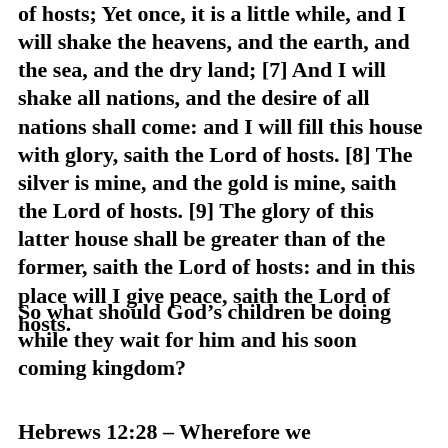of hosts; Yet once, it is a little while, and I will shake the heavens, and the earth, and the sea, and the dry land; [7] And I will shake all nations, and the desire of all nations shall come: and I will fill this house with glory, saith the Lord of hosts. [8] The silver is mine, and the gold is mine, saith the Lord of hosts. [9] The glory of this latter house shall be greater than of the former, saith the Lord of hosts: and in this place will I give peace, saith the Lord of hosts.
So what should God’s children be doing while they wait for him and his soon coming kingdom?
Hebrews 12:28 – Wherefore we